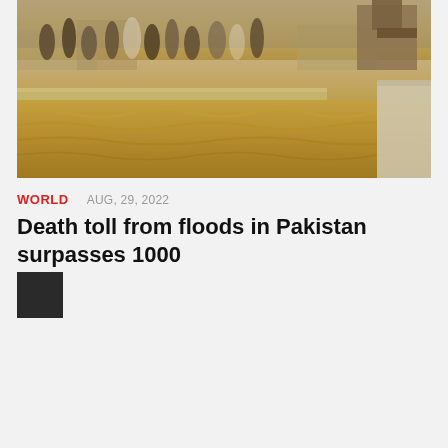[Figure (photo): Flood scene in Pakistan showing turbulent brown muddy floodwater rushing through a street, with a crowd of people visible in the background and heavy machinery on the right side.]
WORLD   AUG, 29, 2022
Death toll from floods in Pakistan surpasses 1000
[Figure (photo): Small dark square thumbnail image, likely an author avatar or related article image.]